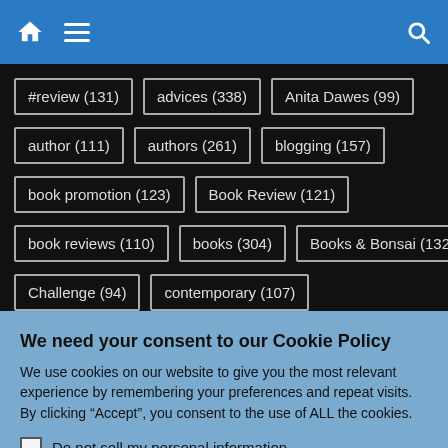Navigation bar with home icon, menu icon, and search icon
#review (131)
advices (338)
Anita Dawes (99)
author (111)
authors (261)
blogging (157)
book promotion (123)
Book Review (121)
book reviews (110)
books (304)
Books & Bonsai (132)
Challenge (94)
contemporary (107)
We need your consent to our Cookie Policy
We use cookies on our website to give you the most relevant experience by remembering your preferences and repeat visits. By clicking “Accept”, you consent to the use of ALL the cookies.
Do not sell my personal information.
Cookie Settings | Accept